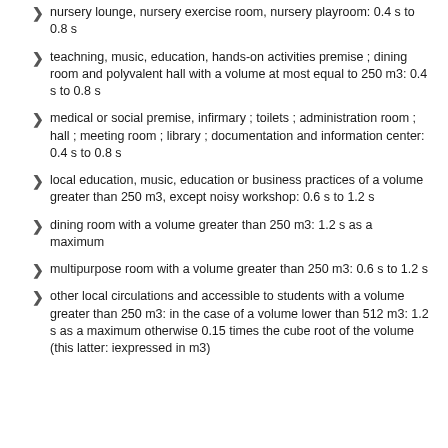nursery lounge, nursery exercise room, nursery playroom: 0.4 s to 0.8 s
teachning, music, education, hands-on activities premise ; dining room and polyvalent hall with a volume at most equal to 250 m3: 0.4 s to 0.8 s
medical or social premise, infirmary ; toilets ; administration room ; hall ; meeting room ; library ; documentation and information center: 0.4 s to 0.8 s
local education, music, education or business practices of a volume greater than 250 m3, except noisy workshop: 0.6 s to 1.2 s
dining room with a volume greater than 250 m3: 1.2 s as a maximum
multipurpose room with a volume greater than 250 m3: 0.6 s to 1.2 s
other local circulations and accessible to students with a volume greater than 250 m3: in the case of a volume lower than 512 m3: 1.2 s as a maximum otherwise 0.15 times the cube root of the volume (this latter: iexpressed in m3)